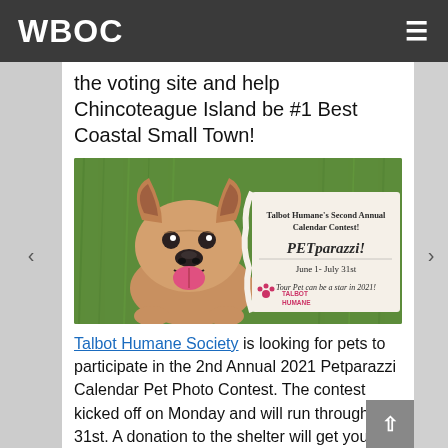WBOC
the voting site and help Chincoteague Island be #1 Best Coastal Small Town!
[Figure (photo): Promotional image for Talbot Humane's Second Annual Calendar Contest - PETparazzi! June 1- July 31st. Tour Pet can be a star in 2021! Features a French Bulldog on green grass background with Talbot Humane logo.]
Talbot Humane Society is looking for pets to participate in the 2nd Annual 2021 Petparazzi Calendar Pet Photo Contest. The contest kicked off on Monday and will run through July 31st. A donation to the shelter will get your pets picture in